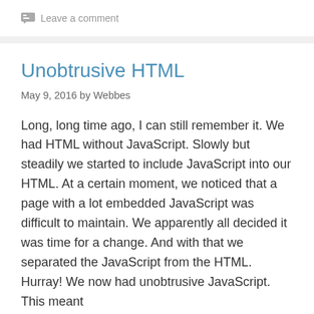Leave a comment
Unobtrusive HTML
May 9, 2016 by Webbes
Long, long time ago, I can still remember it. We had HTML without JavaScript. Slowly but steadily we started to include JavaScript into our HTML. At a certain moment, we noticed that a page with a lot embedded JavaScript was difficult to maintain. We apparently all decided it was time for a change. And with that we separated the JavaScript from the HTML. Hurray! We now had unobtrusive JavaScript. This meant